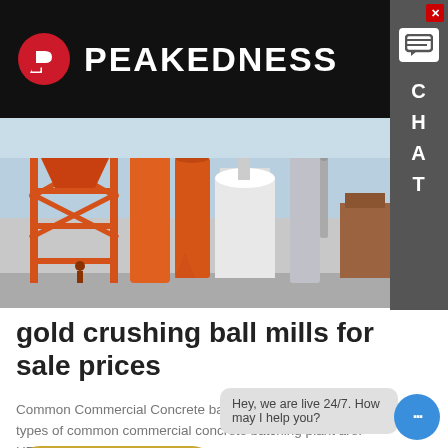PEAKEDNESS
[Figure (photo): Industrial concrete batching plant with orange steel structures, silos, and conveyor systems against a light blue sky]
gold crushing ball mills for sale prices
Common Commercial Concrete batching plant The main types of common commercial concrete batching plant are: HZS12…
Learn More
Hey, we are live 24/7. How may I help you?